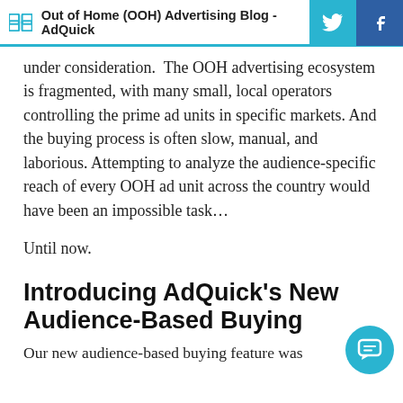Out of Home (OOH) Advertising Blog - AdQuick
under consideration.  The OOH advertising ecosystem is fragmented, with many small, local operators controlling the prime ad units in specific markets. And the buying process is often slow, manual, and laborious. Attempting to analyze the audience-specific reach of every OOH ad unit across the country would have been an impossible task…
Until now.
Introducing AdQuick's New Audience-Based Buying
Our new audience-based buying feature was